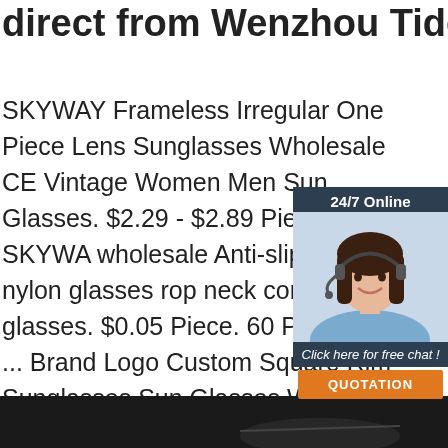direct from Wenzhou Tide ...
SKYWAY Frameless Irregular One Piece Lens Sunglasses Wholesale CE Vintage Women Men Sun Glasses. $2.29 - $2.89 Piece. 2 ... SKYWAY wholesale Anti-slip rope nylon glasses rope neck cord for glasses. $0.05 Piece. 60 Pieces Order ... Brand Logo Custom Square Rim Sunglasses Sun Glasses With Diamond D $3.65 ...
[Figure (photo): Chat widget with woman wearing headset, 24/7 Online label, Click here for free chat text, and orange QUOTATION button]
[Figure (other): Orange TOP button with dot crown icon]
Get Price
[Figure (photo): Dark bottom bar area, partial image of what appears to be sunglasses on dark background]